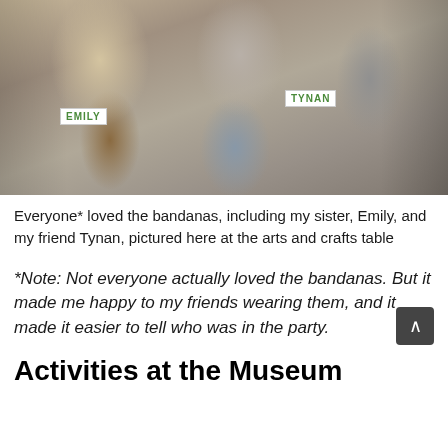[Figure (photo): Photo of people at an arts and crafts table. A woman with long blonde hair wearing a brown jacket has a name tag reading 'EMILY'. A man in a grey plaid shirt has a name tag reading 'TYNAN'. A third person is partially visible on the right. They appear to be handling craft items.]
Everyone* loved the bandanas, including my sister, Emily, and my friend Tynan, pictured here at the arts and crafts table
*Note: Not everyone actually loved the bandanas. But it made me happy to my friends wearing them, and it made it easier to tell who was in the party.
Activities at the Museum